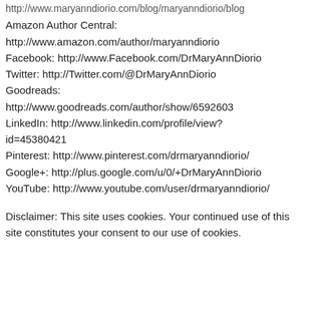http://www.maryanndiorio.com/blog/maryanndiorio/blog
Amazon Author Central: http://www.amazon.com/author/maryanndiorio
Facebook: http://www.Facebook.com/DrMaryAnnDiorio
Twitter: http://Twitter.com/@DrMaryAnnDiorio
Goodreads: http://www.goodreads.com/author/show/6592603
LinkedIn: http://www.linkedin.com/profile/view?id=45380421
Pinterest: http://www.pinterest.com/drmaryanndiorio/
Google+: http://plus.google.com/u/0/+DrMaryAnnDiorio
YouTube: http://www.youtube.com/user/drmaryanndiorio/
Disclaimer: This site uses cookies. Your continued use of this site constitutes your consent to our use of cookies.